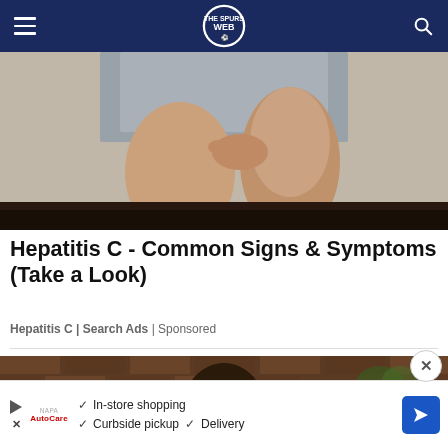The Spurs Web — navigation bar with hamburger menu, logo, and search icon
[Figure (photo): Close-up photo of a person's legs, one hand gripping the lower leg area, against a neutral background with a dark baseboard]
Hepatitis C - Common Signs & Symptoms (Take a Look)
Hepatitis C | Search Ads | Sponsored
[Figure (photo): Photo of a bald man wearing large black-framed glasses, in front of a brick wall background]
In-store shopping  Curbside pickup  Delivery